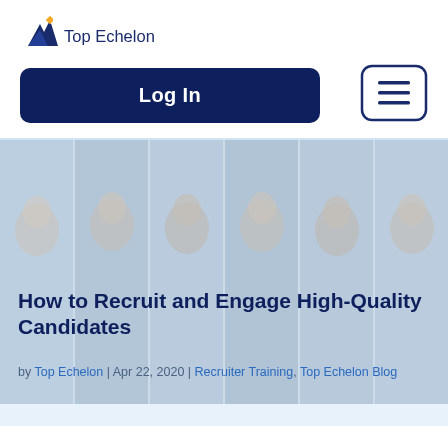[Figure (logo): Top Echelon logo with stylized mountain/book icon and text 'Top Echelon']
Log In
[Figure (other): Hamburger menu button with three horizontal lines inside a rounded rectangle border]
[Figure (photo): Collage of diverse people looking at smartphones, arranged in vertical panels with blue-tinted overlay]
How to Recruit and Engage High-Quality Candidates
by Top Echelon | Apr 22, 2020 | Recruiter Training, Top Echelon Blog